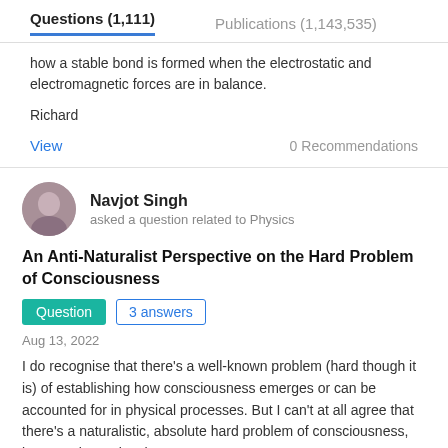Questions (1,111)    Publications (1,143,535)
how a stable bond is formed when the electrostatic and electromagnetic forces are in balance.
Richard
View
0 Recommendations
Navjot Singh
asked a question related to Physics
An Anti-Naturalist Perspective on the Hard Problem of Consciousness
Question   3 answers
Aug 13, 2022
I do recognise that there's a well-known problem (hard though it is) of establishing how consciousness emerges or can be accounted for in physical processes. But I can't at all agree that there's a naturalistic, absolute hard problem of consciousness, because it's an incoherent concept.